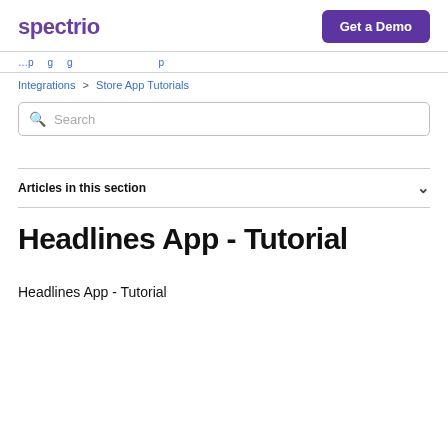spectrio | Get a Demo
Integrations > Store App Tutorials
Search
Articles in this section
Headlines App - Tutorial
Headlines App - Tutorial